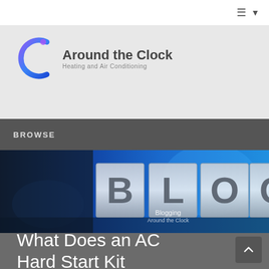Around the Clock Heating and Air Conditioning
BROWSE
[Figure (photo): Blue-lit metallic letterpress blocks spelling BLOG with 'Blogging' and 'Around the Clock' text overlay]
What Does an AC Hard Start Kit